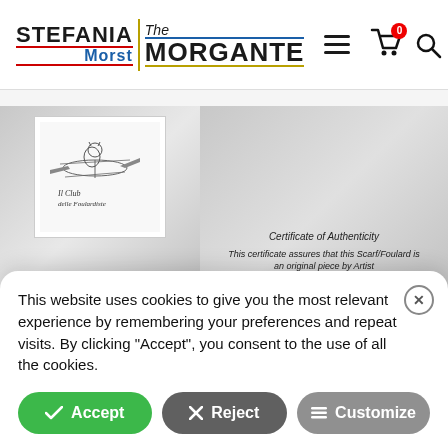[Figure (logo): Stefania Morst / The Morgante brand logo with colored underlines and divider]
[Figure (screenshot): Website screenshot showing product area with scarf image (Il Club delle Foulardiste) and certificate of authenticity for Stefania Morgante]
This website uses cookies to give you the most relevant experience by remembering your preferences and repeat visits. By clicking “Accept”, you consent to the use of all the cookies.